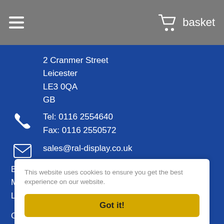☰  basket
2 Cranmer Street
Leicester
LE3 0QA
GB
Tel: 0116 2554640
Fax: 0116 2550572
sales@ral-display.co.uk
Business hours are 9am to 5:30pm,
Monday to Friday
Local Time is 2:01pm (GMT)
Copyright © RAL Display 2022
Registered in England No. 1978439
VAT No. GB 372 2194 60
This website uses cookies to ensure you get the best experience on our website.
Got it!